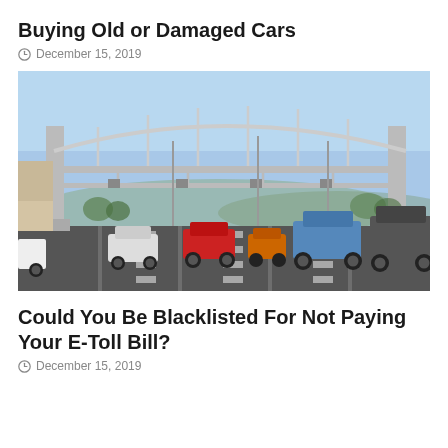Buying Old or Damaged Cars
December 15, 2019
[Figure (photo): Photo of a highway e-toll gantry with cars passing underneath on a multi-lane road, under a clear blue sky.]
Could You Be Blacklisted For Not Paying Your E-Toll Bill?
December 15, 2019